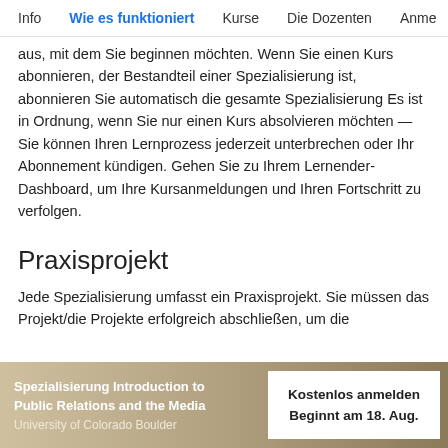Info  Wie es funktioniert  Kurse  Die Dozenten  Anme
aus, mit dem Sie beginnen möchten. Wenn Sie einen Kurs abonnieren, der Bestandteil einer Spezialisierung ist, abonnieren Sie automatisch die gesamte Spezialisierung Es ist in Ordnung, wenn Sie nur einen Kurs absolvieren möchten — Sie können Ihren Lernprozess jederzeit unterbrechen oder Ihr Abonnement kündigen. Gehen Sie zu Ihrem Lernender-Dashboard, um Ihre Kursanmeldungen und Ihren Fortschritt zu verfolgen.
Praxisprojekt
Jede Spezialisierung umfasst ein Praxisprojekt. Sie müssen das Projekt/die Projekte erfolgreich abschließen, um die
Spezialisierung Introduction to Public Relations and the Media
University of Colorado Boulder
Kostenlos anmelden
Beginnt am 18. Aug.